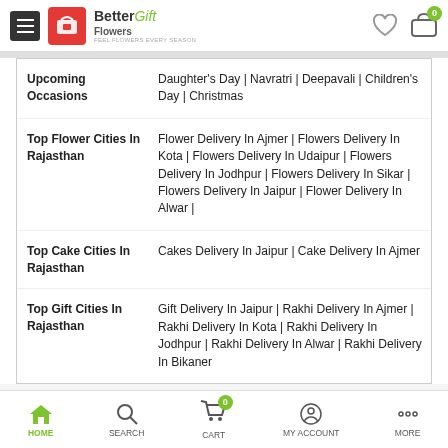Better Flowers Gift — header with hamburger menu, heart icon, cart badge (0)
| Category | Links |
| --- | --- |
| Upcoming Occasions | Daughter's Day | Navratri | Deepavali | Children's Day | Christmas |
| Top Flower Cities In Rajasthan | Flower Delivery In Ajmer | Flowers Delivery In Kota | Flowers Delivery In Udaipur | Flowers Delivery In Jodhpur | Flowers Delivery In Sikar | Flowers Delivery In Jaipur | Flower Delivery In Alwar | |
| Top Cake Cities In Rajasthan | Cakes Delivery In Jaipur | Cake Delivery In Ajmer |
| Top Gift Cities In Rajasthan | Gift Delivery In Jaipur | Rakhi Delivery In Ajmer | Rakhi Delivery In Kota | Rakhi Delivery In Jodhpur | Rakhi Delivery In Alwar | Rakhi Delivery In Bikaner |
HOME | SEARCH | CART | MY ACCOUNT | MORE